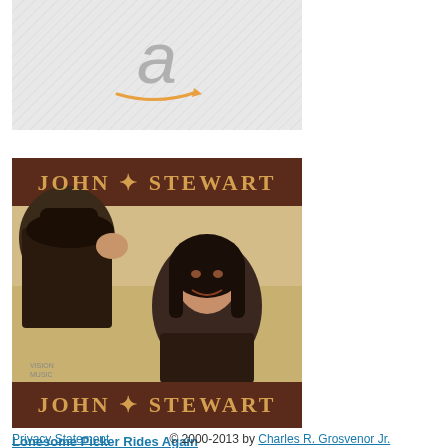[Figure (other): Amazon placeholder image with large stylized 'a' logo and orange arrow swoosh on gray hatched background]
Havana
[Figure (photo): Album cover for John Stewart 'Lonesome Picker Rides Again' - dark brown banner top and bottom with 'JOHN STEWART' in western-style lettering, center photo of man with long dark hair raising a cowboy hat, yellowish background]
Lonesome Picker Rides Again
Privacy Statement    © 2000-2013 by Charles R. Grosvenor Jr.